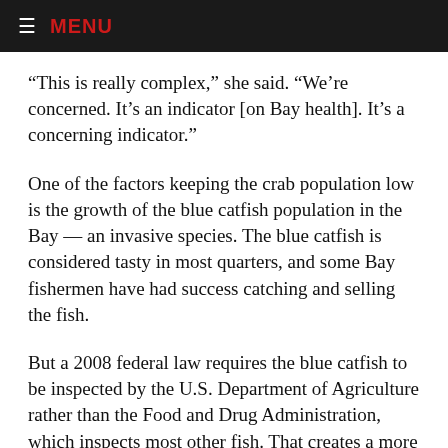≡ MENU
“This is really complex,” she said. “We’re concerned. It’s an indicator [on Bay health]. It’s a concerning indicator.”
One of the factors keeping the crab population low is the growth of the blue catfish population in the Bay — an invasive species. The blue catfish is considered tasty in most quarters, and some Bay fishermen have had success catching and selling the fish.
But a 2008 federal law requires the blue catfish to be inspected by the U.S. Department of Agriculture rather than the Food and Drug Administration, which inspects most other fish. That creates a more cumbersome process and delays the sale of the catfish, hurting vendors’ attempts to sell it on the market. U.S. Rep. Andy Harris, the lone Republican in the Maryland congressional delegation, has inserted a provision in an appropriations